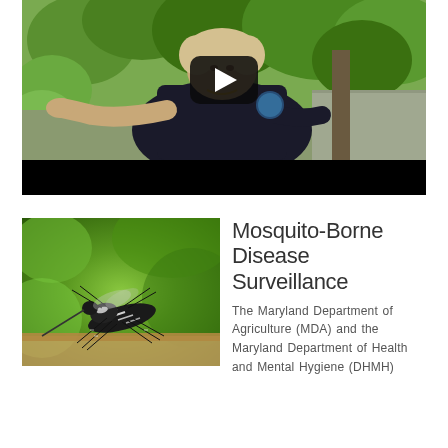[Figure (screenshot): Video thumbnail showing a woman in a dark polo shirt pointing, standing outdoors with green foliage background. A YouTube-style play button is overlaid in the center. A black control bar is at the bottom.]
[Figure (photo): Close-up photograph of a mosquito (likely Aedes albopictus, the tiger mosquito) on a surface, showing distinctive black and white striped pattern, against a blurred green background.]
Mosquito-Borne Disease Surveillance
The Maryland Department of Agriculture (MDA) and the Maryland Department of Health and Mental Hygiene (DHMH)